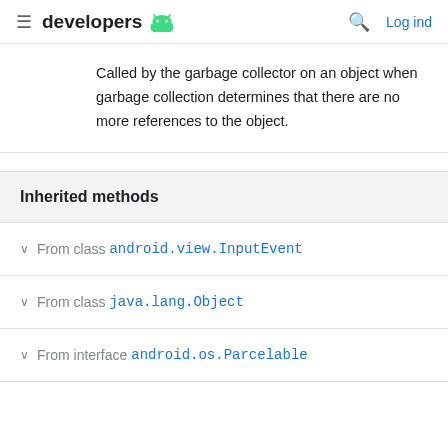developers [android logo] | Search | Log ind
Called by the garbage collector on an object when garbage collection determines that there are no more references to the object.
Inherited methods
From class android.view.InputEvent
From class java.lang.Object
From interface android.os.Parcelable